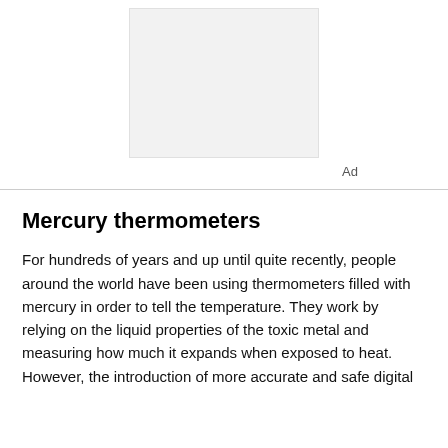[Figure (other): Advertisement placeholder box (gray rectangle) with 'Ad' label beneath it]
Mercury thermometers
For hundreds of years and up until quite recently, people around the world have been using thermometers filled with mercury in order to tell the temperature. They work by relying on the liquid properties of the toxic metal and measuring how much it expands when exposed to heat. However, the introduction of more accurate and safe digital